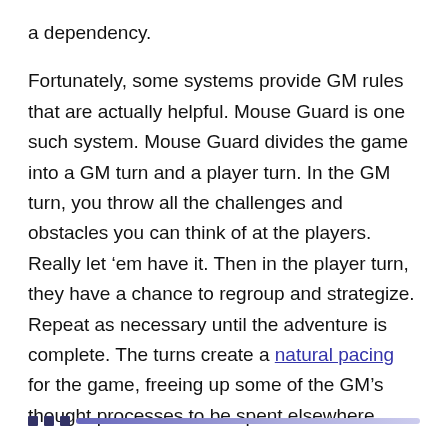a dependency.
Fortunately, some systems provide GM rules that are actually helpful. Mouse Guard is one such system. Mouse Guard divides the game into a GM turn and a player turn. In the GM turn, you throw all the challenges and obstacles you can think of at the players. Really let ‘em have it. Then in the player turn, they have a chance to regroup and strategize. Repeat as necessary until the adventure is complete. The turns create a natural pacing for the game, freeing up some of the GM’s thought processes to be spent elsewhere.
[Figure (other): Navigation dots and progress bar at bottom of page: three small dark square dots followed by a horizontal gradient progress bar]